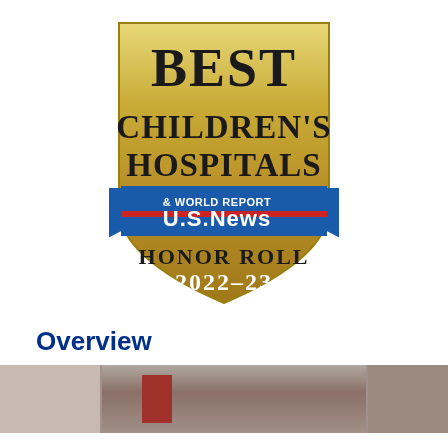[Figure (logo): U.S. News & World Report Best Children's Hospitals Honor Roll 2022-23 badge. Gold shield shape with dark text 'BEST CHILDREN'S HOSPITALS' above a blue banner with 'U.S.News & WORLD REPORT' and red stripe, and gold lower section reading 'HONOR ROLL 2022-23'.]
Overview
[Figure (photo): Partial view of a building exterior, showing architectural details with brick/facade elements and a red accent panel.]